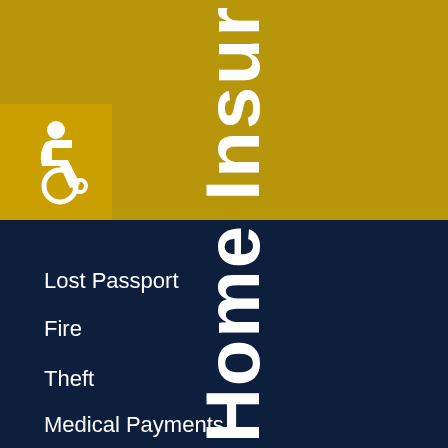[Figure (illustration): Home Insurance cover page with gold top section, dark navy bottom section, wheelchair accessibility icon in top-left, and vertical 'Home Insur' text overlapping both sections]
Lost Passport
Fire
Theft
Medical Payments